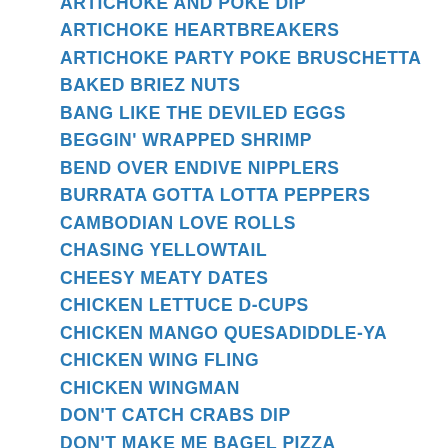ARTICHOKE AND POKE DIP
ARTICHOKE HEARTBREAKERS
ARTICHOKE PARTY POKE BRUSCHETTA
BAKED BRIEZ NUTS
BANG LIKE THE DEVILED EGGS
BEGGIN' WRAPPED SHRIMP
BEND OVER ENDIVE NIPPLERS
BURRATA GOTTA LOTTA PEPPERS
CAMBODIAN LOVE ROLLS
CHASING YELLOWTAIL
CHEESY MEATY DATES
CHICKEN LETTUCE D-CUPS
CHICKEN MANGO QUESADIDDLE-YA
CHICKEN WING FLING
CHICKEN WINGMAN
DON'T CATCH CRABS DIP
DON'T MAKE ME BAGEL PIZZA
EDAMAME'S BOY
FIG-TASTIC VOYAGE
FIGGY PIGGY PIZZA